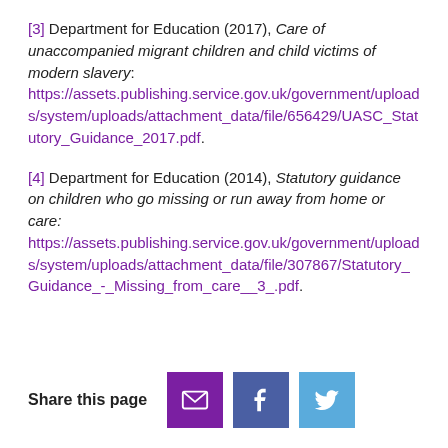[3] Department for Education (2017), Care of unaccompanied migrant children and child victims of modern slavery: https://assets.publishing.service.gov.uk/government/uploads/system/uploads/attachment_data/file/656429/UASC_Statutory_Guidance_2017.pdf.
[4] Department for Education (2014), Statutory guidance on children who go missing or run away from home or care: https://assets.publishing.service.gov.uk/government/uploads/system/uploads/attachment_data/file/307867/Statutory_Guidance_-_Missing_from_care__3_.pdf.
Share this page